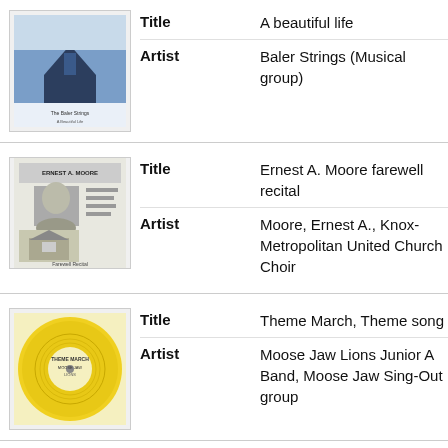Title: A beautiful life | Artist: Baler Strings (Musical group)
Title: Ernest A. Moore farewell recital | Artist: Moore, Ernest A., Knox-Metropolitan United Church Choir
Title: Theme March, Theme song | Artist: Moose Jaw Lions Junior A Band, Moose Jaw Sing-Out group
Title: The Regina Board of Education presents music from "An evening of art and music"
Title: Raisins and almonds